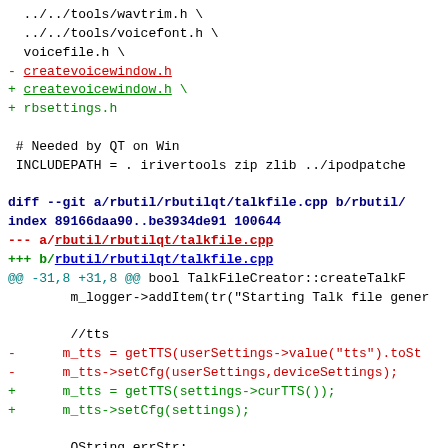Diff/patch code block showing changes to talkfile.cpp and related build files